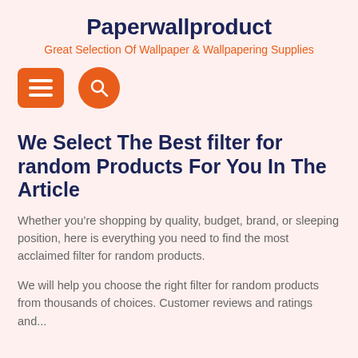Paperwallproduct
Great Selection Of Wallpaper & Wallpapering Supplies
[Figure (other): Navigation icons: orange rounded-rectangle menu (hamburger) button and orange circle search button]
We Select The Best filter for random Products For You In The Article
Whether you’re shopping by quality, budget, brand, or sleeping position, here is everything you need to find the most acclaimed filter for random products.
We will help you choose the right filter for random products from thousands of choices. Customer reviews and ratings and...